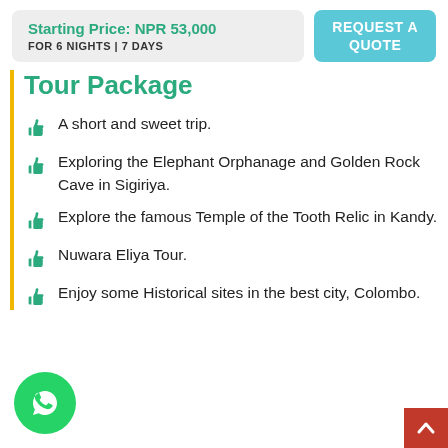Starting Price: NPR 53,000
FOR 6 NIGHTS | 7 DAYS
REQUEST A QUOTE
Tour Package
A short and sweet trip.
Exploring the Elephant Orphanage and Golden Rock Cave in Sigiriya.
Explore the famous Temple of the Tooth Relic in Kandy.
Nuwara Eliya Tour.
Enjoy some Historical sites in the best city, Colombo.